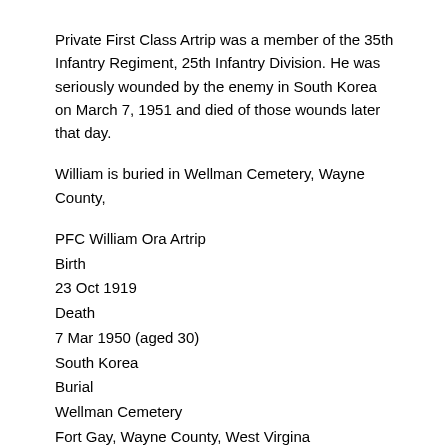Private First Class Artrip was a member of the 35th Infantry Regiment, 25th Infantry Division. He was seriously wounded by the enemy in South Korea on March 7, 1951 and died of those wounds later that day.
William is buried in Wellman Cemetery, Wayne County,
PFC William Ora Artrip
Birth
23 Oct 1919
Death
7 Mar 1950 (aged 30)
South Korea
Burial
Wellman Cemetery
Fort Gay, Wayne County, West Virgina